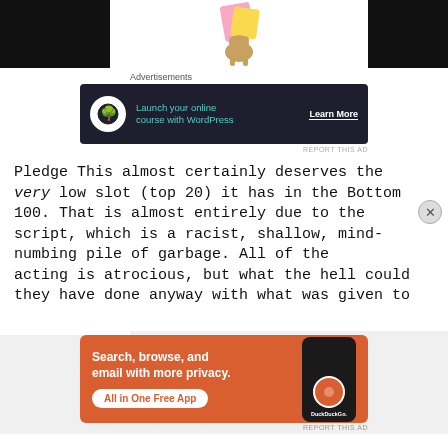[Figure (screenshot): Top banner area with black blocks on left and right and a dog/colorful graphic in the center]
Advertisements
[Figure (screenshot): Advertisement banner: Launch your online course with WordPress – Learn More]
REPORT THIS AD
Pledge This almost certainly deserves the very low slot (top 20) it has in the Bottom 100. That is almost entirely due to the script, which is a racist, shallow, mind-numbing pile of garbage. All of the acting is atrocious, but what the hell could they have done anyway with what was given to
Advertisements
[Figure (screenshot): DuckDuckGo advertisement: Search, browse, and email with more privacy. All in One Free App.]
REPORT THIS AD